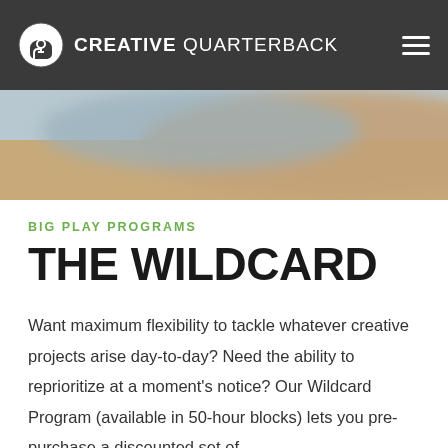CREATIVE QUARTERBACK
[Figure (photo): Blurred close-up photo of a light-colored wooden surface and blue-grey background, serving as a hero/banner image]
BIG PLAY PROGRAMS
THE WILDCARD
Want maximum flexibility to tackle whatever creative projects arise day-to-day? Need the ability to reprioritize at a moment's notice? Our Wildcard Program (available in 50-hour blocks) lets you pre-purchase a discounted set of